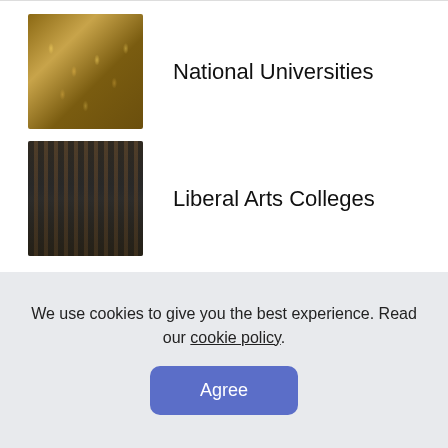National Universities
Liberal Arts Colleges
World Ranking
Public Colleges
[Figure (photo): Partially visible thumbnail photo of a building or interior]
We use cookies to give you the best experience. Read our cookie policy. Agree